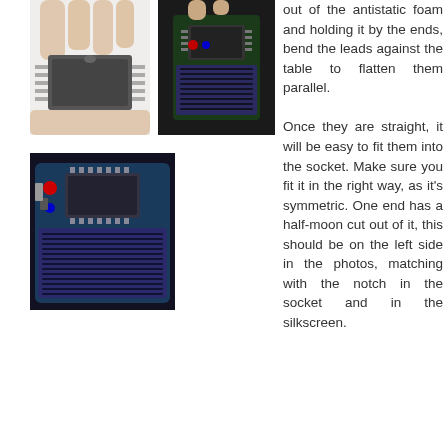[Figure (photo): Photo of a hand holding an integrated circuit chip, viewed from above on white background]
[Figure (photo): Photo of a microcontroller development board being held, showing chip pins and PCB]
[Figure (photo): Photo of a blue Arduino/microcontroller development board with breadboard attached, viewed from angled perspective]
out of the antistatic foam and holding it by the ends, bend the leads against the table to flatten them parallel.

Once they are straight, it will be easy to fit them into the socket. Make sure you fit it in the right way, as it's symmetric. One end has a half-moon cut out of it, this should be on the left side in the photos, matching with the notch in the socket and in the silkscreen.